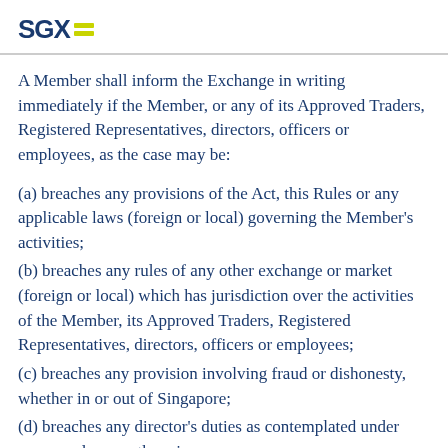SGX
A Member shall inform the Exchange in writing immediately if the Member, or any of its Approved Traders, Registered Representatives, directors, officers or employees, as the case may be:
(a) breaches any provisions of the Act, this Rules or any applicable laws (foreign or local) governing the Member's activities;
(b) breaches any rules of any other exchange or market (foreign or local) which has jurisdiction over the activities of the Member, its Approved Traders, Registered Representatives, directors, officers or employees;
(c) breaches any provision involving fraud or dishonesty, whether in or out of Singapore;
(d) breaches any director's duties as contemplated under common law or otherwise;